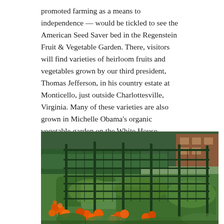promoted farming as a means to independence — would be tickled to see the American Seed Saver bed in the Regenstein Fruit & Vegetable Garden. There, visitors will find varieties of heirloom fruits and vegetables grown by our third president, Thomas Jefferson, in his country estate at Monticello, just outside Charlottesville, Virginia. Many of these varieties are also grown in Michelle Obama's organic vegetable garden on the White House grounds.
[Figure (photo): A garden photo showing a metal trellis/fence with lush green plants and orange marigold flowers in the foreground, with trees and a brick building visible in the background.]